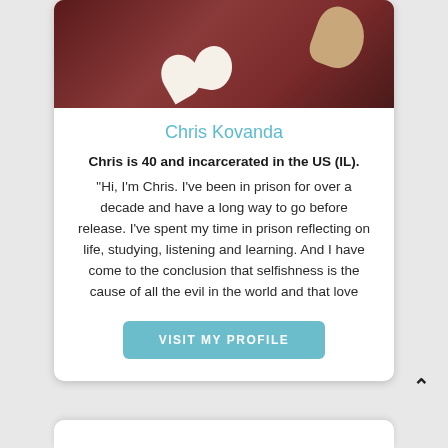[Figure (photo): Photo of a person wearing a dark red Adidas sweatshirt, with a hand visible in the upper right reaching toward them.]
Chris Kovanda
Chris is 40 and incarcerated in the US (IL). "Hi, I'm Chris. I've been in prison for over a decade and have a long way to go before release. I've spent my time in prison reflecting on life, studying, listening and learning. And I have come to the conclusion that selfishness is the cause of all the evil in the world and that love
VISIT MY PROFILE